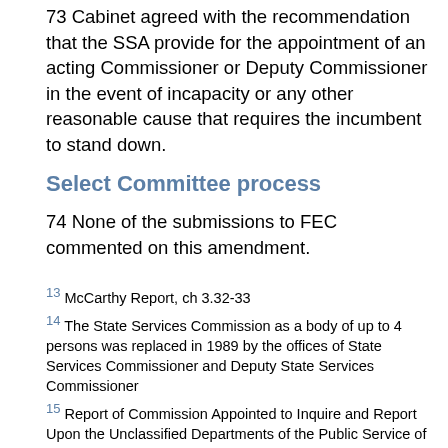73 Cabinet agreed with the recommendation that the SSA provide for the appointment of an acting Commissioner or Deputy Commissioner in the event of incapacity or any other reasonable cause that requires the incumbent to stand down.
Select Committee process
74 None of the submissions to FEC commented on this amendment.
13 McCarthy Report, ch 3.32-33
14 The State Services Commission as a body of up to 4 persons was replaced in 1989 by the offices of State Services Commissioner and Deputy State Services Commissioner
15 Report of Commission Appointed to Inquire and Report Upon the Unclassified Departments of the Public Service of New Zealand – 1912